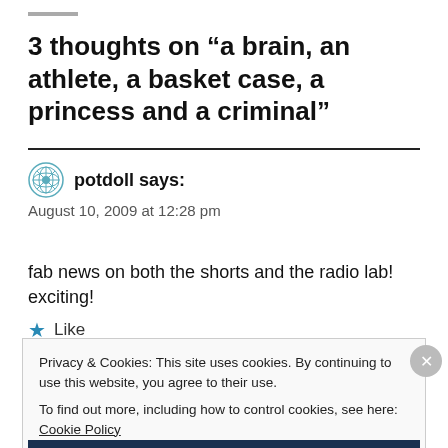3 thoughts on “a brain, an athlete, a basket case, a princess and a criminal”
potdoll says:
August 10, 2009 at 12:28 pm
fab news on both the shorts and the radio lab! exciting!
Like
Privacy & Cookies: This site uses cookies. By continuing to use this website, you agree to their use.
To find out more, including how to control cookies, see here: Cookie Policy